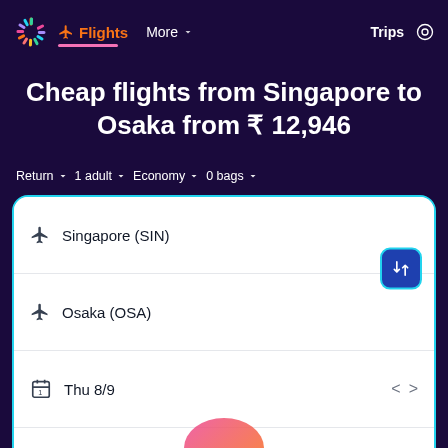Flights   More   Trips
Cheap flights from Singapore to Osaka from ₹ 12,946
Return  1 adult  Economy  0 bags
Singapore (SIN)
Osaka (OSA)
Thu 8/9
Thu 15/9